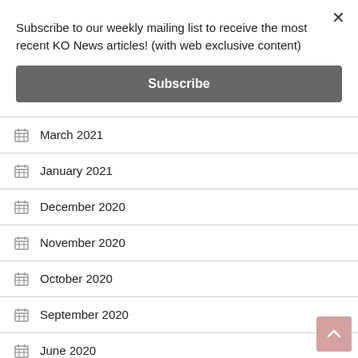Subscribe to our weekly mailing list to receive the most recent KO News articles! (with web exclusive content)
Subscribe
March 2021
January 2021
December 2020
November 2020
October 2020
September 2020
June 2020
May 2020